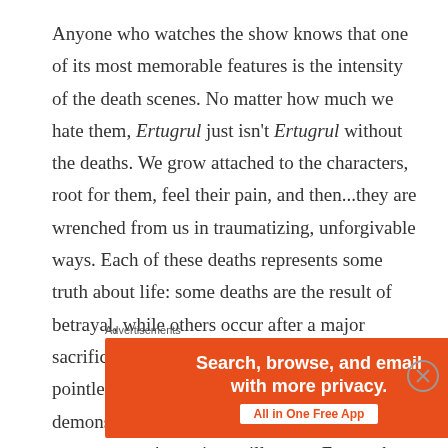Anyone who watches the show knows that one of its most memorable features is the intensity of the death scenes. No matter how much we hate them, Ertugrul just isn't Ertugrul without the deaths. We grow attached to the characters, root for them, feel their pain, and then...they are wrenched from us in traumatizing, unforgivable ways. Each of these deaths represents some truth about life: some deaths are the result of betrayal, while others occur after a major sacrifice. And some deaths just seem utterly pointless. However, all of the deaths demonstrate that, just as in real life, ready or not, everyone's set time will come. Ertugrul reinforces the fact that just as we have our
Advertisements
[Figure (other): DuckDuckGo advertisement banner: orange left panel with text 'Search, browse, and email with more privacy. All in One Free App' and dark right panel with DuckDuckGo logo and name.]